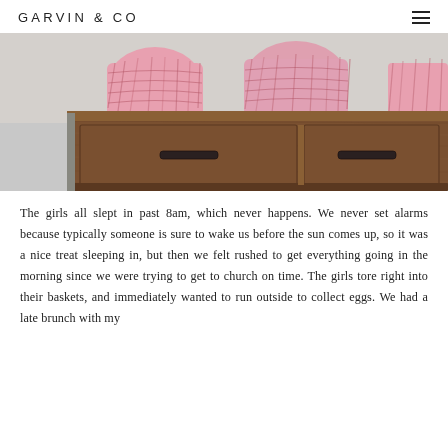GARVIN & CO
[Figure (photo): A wooden dresser/console table with two drawers with dark metal handles, and three wire baskets filled with pink shredded paper on top, against a light gray wall.]
The girls all slept in past 8am, which never happens. We never set alarms because typically someone is sure to wake us before the sun comes up, so it was a nice treat sleeping in, but then we felt rushed to get everything going in the morning since we were trying to get to church on time. The girls tore right into their baskets, and immediately wanted to run outside to collect eggs. We had a late brunch with my